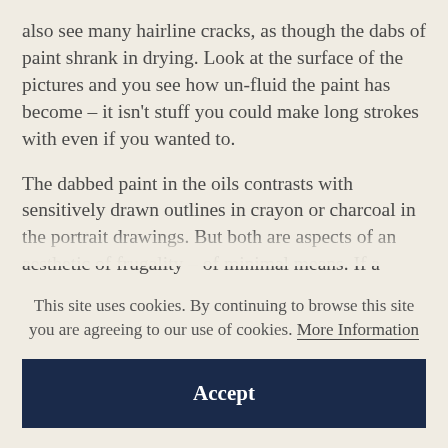also see many hairline cracks, as though the dabs of paint shrank in drying. Look at the surface of the pictures and you see how un-fluid the paint has become – it isn't stuff you could make long strokes with even if you wanted to.
The dabbed paint in the oils contrasts with sensitively drawn outlines in crayon or charcoal in the portrait drawings. But both are aspects of an aesthetic of frugality – of minimal means. If a moment comes when you get impatient with the
This site uses cookies. By continuing to browse this site you are agreeing to our use of cookies. More Information
Accept